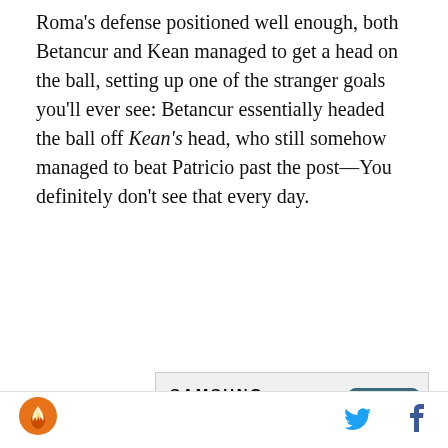Roma's defense positioned well enough, both Betancur and Kean managed to get a head on the ball, setting up one of the stranger goals you'll ever see: Betancur essentially headed the ball off Kean's head, who still somehow managed to beat Patricio past the post—You definitely don't see that every day.
[Figure (screenshot): Samsung advertisement for Galaxy Z Fold4 offering a free storage upgrade and case with S Pen with pre-order. Shows Samsung logo, promotional text, a circular arrow button, and an image of the Galaxy Z Fold4 phone.]
Site logo (flame icon) | Twitter bird icon | Facebook f icon